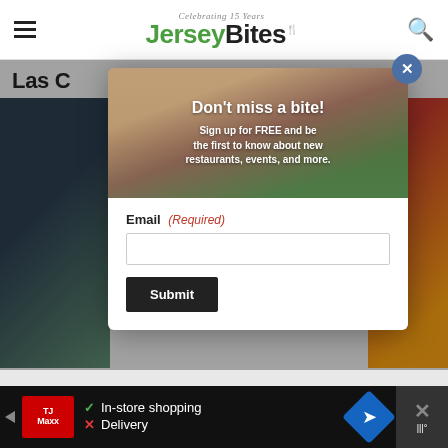JerseyBites — Celebrating 15 Years
Las C
[Figure (screenshot): Modal popup newsletter signup overlay on JerseyBites website. Shows a person holding a food wrap with text 'Don't miss a bite! Sign up for FREE and be the first to know about new restaurants, events, and more.' with an email input field and Submit button.]
Don't miss a bite!
Sign up for FREE and be the first to know about new restaurants, events, and more.
Email (Required)
Submit
[Figure (screenshot): Bottom advertisement banner for TJ Maxx showing 'In-store shopping' with green checkmark and 'Delivery' with red X, alongside a blue navigation/directions icon and a dismiss button.]
In-store shopping
Delivery